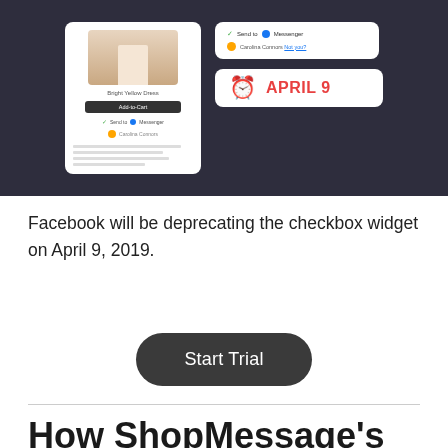[Figure (screenshot): A dark-background UI screenshot showing a product card for 'Bright Yellow Dress' with an Add-to-Cart button and a Send to Messenger checkbox widget on the left, and on the right two cards: one showing 'Send to Messenger' with a user row for 'Carolina Connors', and another card showing a clock emoji with 'APRIL 9' in red text.]
Facebook will be deprecating the checkbox widget on April 9, 2019.
[Figure (other): Dark rounded button labeled 'Start Trial']
How ShopMessage's Growth Tools Will Help Make You a Messenger Marketing Pro